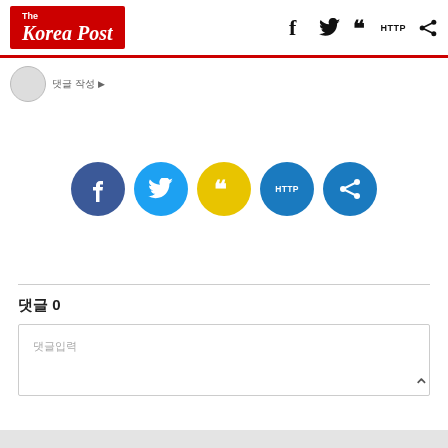The Korea Post — header with social icons (facebook, twitter, quotation, HTTP, share)
댓글 작성 ▶
[Figure (infographic): Five circular social share buttons: Facebook (dark blue), Twitter (light blue), Quotation (yellow), HTTP (medium blue), Share (medium blue)]
댓글 0
댓글입력